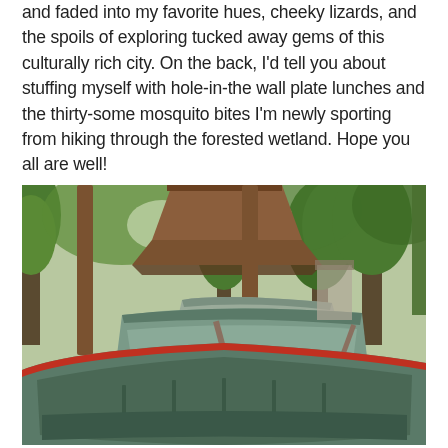and faded into my favorite hues, cheeky lizards, and the spoils of exploring tucked away gems of this culturally rich city. On the back, I'd tell you about stuffing myself with hole-in-the wall plate lunches and the thirty-some mosquito bites I'm newly sporting from hiking through the forested wetland. Hope you all are well!
[Figure (photo): Photograph of several wooden canoes/boats stored under a wooden pavilion shelter, surrounded by green trees. In the foreground is a large green canoe with a red trim along its rim. Behind it are additional boats. The setting appears to be an outdoor wetland or park area.]